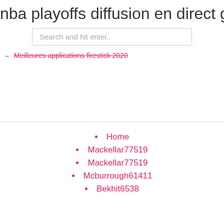nba playoffs diffusion en direct gratuit
Search and hit enter..
Meilleures applications firestick 2020
Home
Mackellar77519
Mackellar77519
Mcburrough61411
Bekhit6538